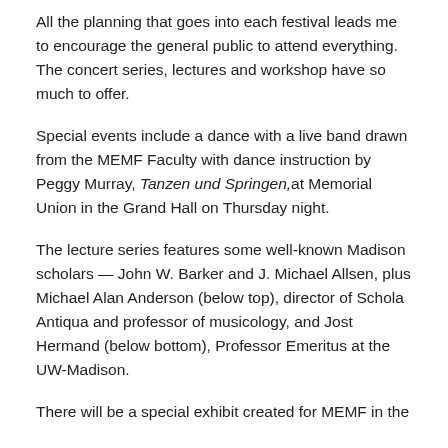All the planning that goes into each festival leads me to encourage the general public to attend everything. The concert series, lectures and workshop have so much to offer.
Special events include a dance with a live band drawn from the MEMF Faculty with dance instruction by Peggy Murray, Tanzen und Springen, at Memorial Union in the Grand Hall on Thursday night.
The lecture series features some well-known Madison scholars — John W. Barker and J. Michael Allsen, plus Michael Alan Anderson (below top), director of Schola Antiqua and professor of musicology, and Jost Hermand (below bottom), Professor Emeritus at the UW-Madison.
There will be a special exhibit created for MEMF in the